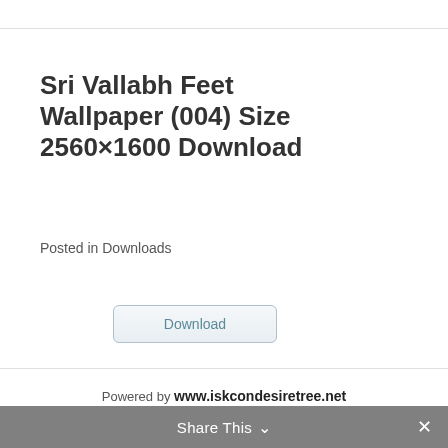Sri Vallabh Feet Wallpaper (004) Size 2560×1600 Download
Posted in Downloads
[Figure (screenshot): Download button — a rounded rectangle button with teal/grey border and text 'Download']
Powered by www.iskcondesiretree.net
Share This ∨  ✕